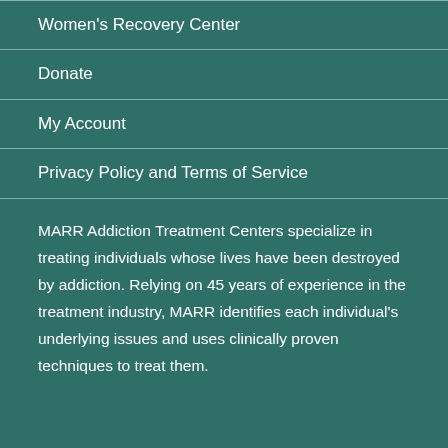Women's Recovery Center
Donate
My Account
Privacy Policy and Terms of Service
MARR Addiction Treatment Centers specialize in treating individuals whose lives have been destroyed by addiction. Relying on 45 years of experience in the treatment industry, MARR identifies each individual's underlying issues and uses clinically proven techniques to treat them.